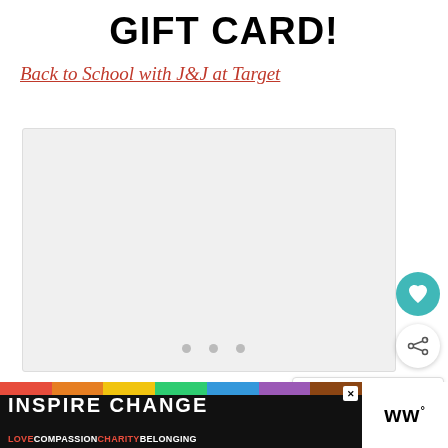GIFT CARD!
Back to School with J&J at Target
[Figure (photo): Large image placeholder area (light gray), with three dots at bottom indicating an image carousel]
[Figure (illustration): Heart favorite button (teal circle with white heart icon)]
[Figure (illustration): Share button (white circle with share icon)]
[Figure (illustration): What's Next panel showing thumbnail of back to school items and text 'WHAT'S NEXT → Back to School...']
[Figure (illustration): Ad banner: 'INSPIRE CHANGE' with rainbow stripe and text 'LOVE COMPASSION CHARITY BELONGING', with close button X, and WW logo on right side]